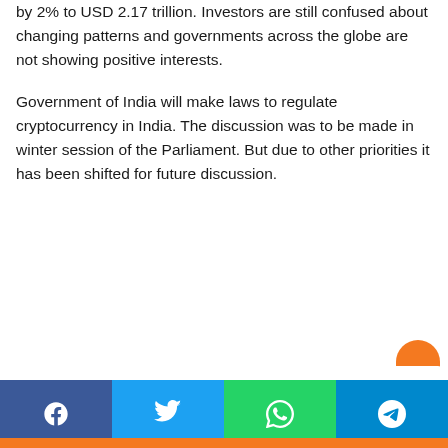by 2% to USD 2.17 trillion. Investors are still confused about changing patterns and governments across the globe are not showing positive interests.
Government of India will make laws to regulate cryptocurrency in India. The discussion was to be made in winter session of the Parliament. But due to other priorities it has been shifted for future discussion.
[Figure (infographic): Social media share buttons bar: Facebook (blue), Twitter (light blue), WhatsApp (green), Telegram (blue) with respective icons]